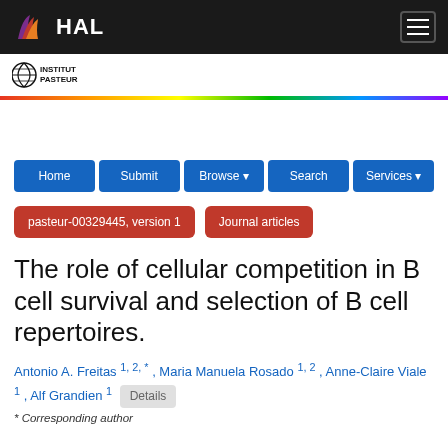HAL — Institut Pasteur
[Figure (logo): Institut Pasteur logo with globe icon and text 'INSTITUT PASTEUR']
Home | Submit | Browse | Search | Services
pasteur-00329445, version 1   Journal articles
The role of cellular competition in B cell survival and selection of B cell repertoires.
Antonio A. Freitas 1, 2, * , Maria Manuela Rosado 1, 2 , Anne-Claire Viale 1 , Alf Grandien 1   Details
* Corresponding author